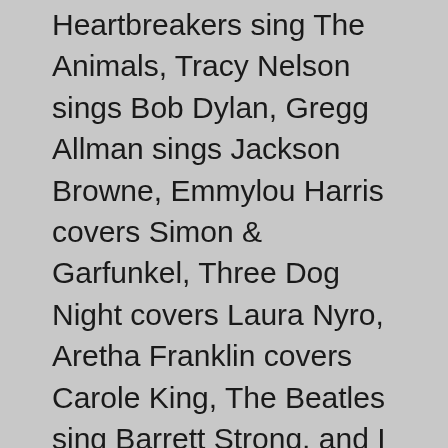Heartbreakers sing The Animals, Tracy Nelson sings Bob Dylan, Gregg Allman sings Jackson Browne, Emmylou Harris covers Simon & Garfunkel, Three Dog Night covers Laura Nyro, Aretha Franklin covers Carole King, The Beatles sing Barrett Strong, and I think you get the message here. Tune this one in. We'll have volume two on Wedesday!
3:00 p.m. The Flying Burrito Brothers Live at My Father's Place, Roslyn, New York, November 28,1976
We hope to also add here, that the band's...